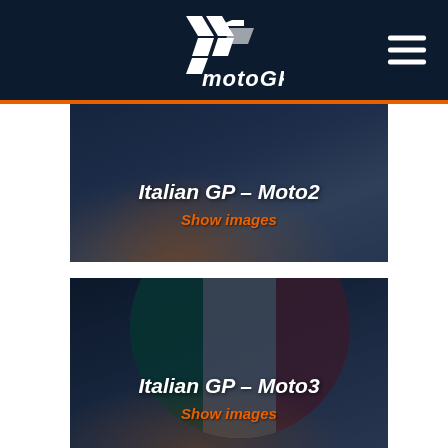[Figure (logo): MotoGP logo - white stylized motorcycle and text on dark navy background]
[Figure (photo): Italian GP Moto2 racing card with dark overlay showing motorcycle racer, white bold italic title 'Italian GP – Moto2' and orange 'Show images' link]
[Figure (photo): Italian GP Moto3 racing card with dark overlay showing Italian flag and motorcycle racer, white bold italic title 'Italian GP – Moto3' and orange 'Show images' link]